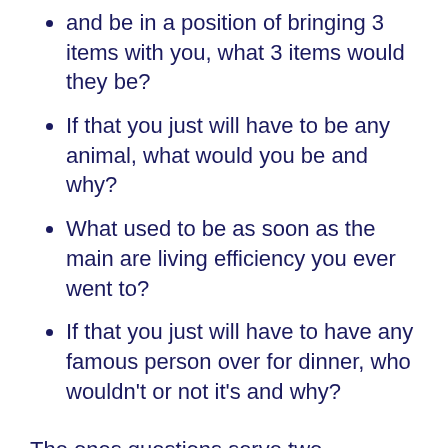and be in a position of bringing 3 items with you, what 3 items would they be?
If that you just will have to be any animal, what would you be and why?
What used to be as soon as the main are living efficiency you ever went to?
If that you just will have to have any famous person over for dinner, who wouldn't or not it's and why?
The ones questions serve two purposes — first, they enable your coworkers to get proper right into a sillier, further creative mindset. second, they encourage conversation on topics typically reserved for outside the place of job, which allows folks of